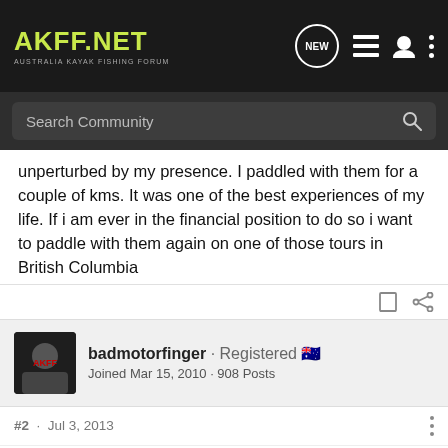AKFF.NET AUSTRALIA KAYAK FISHING FORUM
Search Community
unperturbed by my presence. I paddled with them for a couple of kms. It was one of the best experiences of my life. If i am ever in the financial position to do so i want to paddle with them again on one of those tours in British Columbia
badmotorfinger · Registered 🇦🇺
Joined Mar 15, 2010 · 908 Posts
#2 · Jul 3, 2013
Wasn't there a trip report on here from up that way where an orca pinched someones paddle?